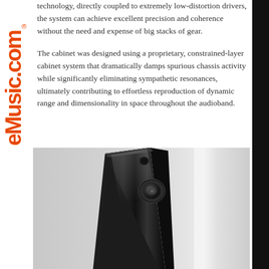technology, directly coupled to extremely low-distortion drivers, the system can achieve excellent precision and coherence without the need and expense of big stacks of gear.
The cabinet was designed using a proprietary, constrained-layer cabinet system that dramatically damps spurious chassis activity while significantly eliminating sympathetic resonances, ultimately contributing to effortless reproduction of dynamic range and dimensionality in space throughout the audioband.
[Figure (photo): A tall, slim black speaker cabinet with angular faceted design, photographed against a light grey background. A small round driver is visible on the upper portion of the cabinet.]